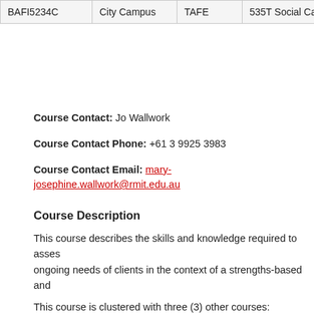| Code | Campus | Provider | Program |
| --- | --- | --- | --- |
| BAFI5234C | City Campus | TAFE | 535T Social Care and Hea... |
Course Contact: Jo Wallwork
Course Contact Phone: +61 3 9925 3983
Course Contact Email: mary-josephine.wallwork@rmit.edu.au
Course Description
This course describes the skills and knowledge required to assess ongoing needs of clients in the context of a strengths-based and
This course is clustered with three (3) other courses:
CHCFIN001 Facilitate the financial counselling process
CHCFIN002 Identify and apply technical information to ass...